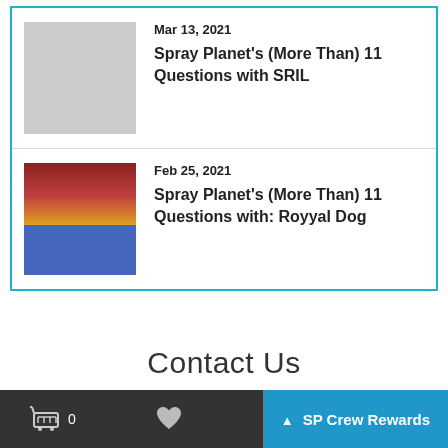[Figure (illustration): Thumbnail image for article: colorful graffiti mural with bright blue, gold, and purple tones — fantasy character artwork]
Mar 13, 2021
Spray Planet's (More Than) 11 Questions with SRIL
[Figure (photo): Thumbnail image for article: street mural featuring a man in a yellow and purple basketball jersey (Bryant), with text 'We Are' partially visible]
Feb 25, 2021
Spray Planet's (More Than) 11 Questions with: Royyal Dog
Contact Us
0  ♥  SP Crew Rewards